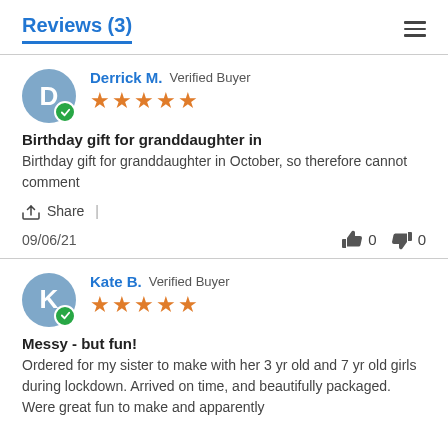Reviews (3)
Derrick M. Verified Buyer — 5 stars — Birthday gift for granddaughter in — Birthday gift for granddaughter in October, so therefore cannot comment — Share | — 09/06/21 — thumbs up: 0, thumbs down: 0
Kate B. Verified Buyer — 5 stars — Messy - but fun! — Ordered for my sister to make with her 3 yr old and 7 yr old girls during lockdown. Arrived on time, and beautifully packaged. Were great fun to make and apparently